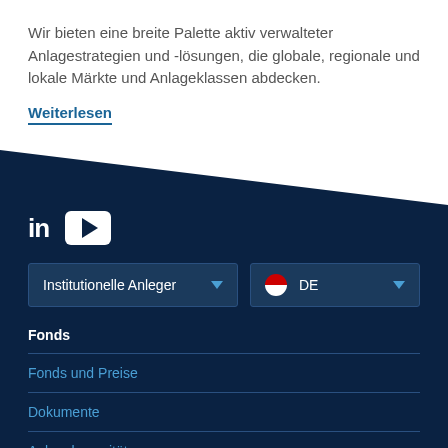Wir bieten eine breite Palette aktiv verwalteter Anlagestrategien und -lösungen, die globale, regionale und lokale Märkte und Anlageklassen abdecken.
Weiterlesen
[Figure (screenshot): Social media icons: LinkedIn (in) and YouTube play button on dark navy background]
Institutionelle Anleger
DE
Fonds
Fonds und Preise
Dokumente
Anlagekapazitäten